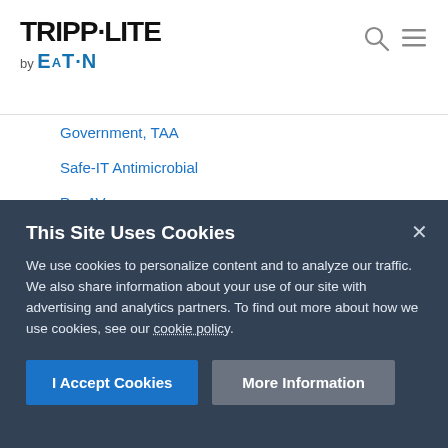[Figure (logo): Tripp-Lite by Eaton logo in top left header]
Government, TAA
Safe-IT Antimicrobial
Pro AV
Industrial
Retail
SUPPORT
RESELLERS
This Site Uses Cookies
We use cookies to personalize content and to analyze our traffic. We also share information about your use of our site with advertising and analytics partners. To find out more about how we use cookies, see our cookie policy.
I Accept Cookies
More Information